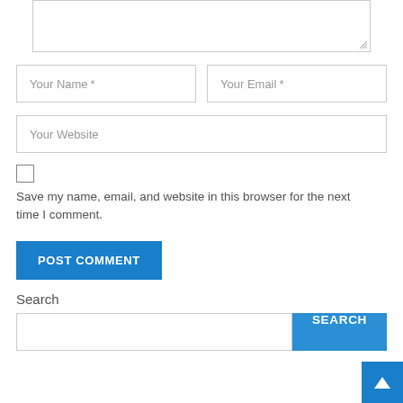[Figure (screenshot): Partial textarea at the top of the page, showing a truncated comment input box with resize handle]
Your Name *
Your Email *
Your Website
Save my name, email, and website in this browser for the next time I comment.
POST COMMENT
Search
SEARCH